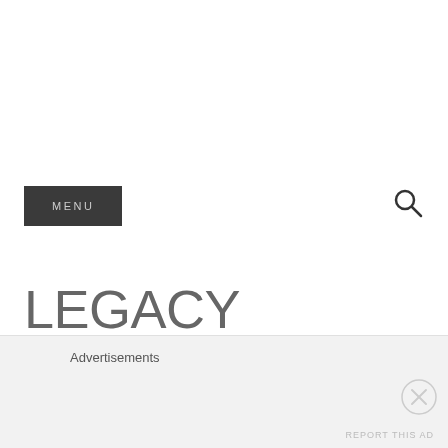MENU
LEGACY POWER TRUCKS.THIS AIN'T NO GROCERY GO-GETTER
Advertisements
REPORT THIS AD